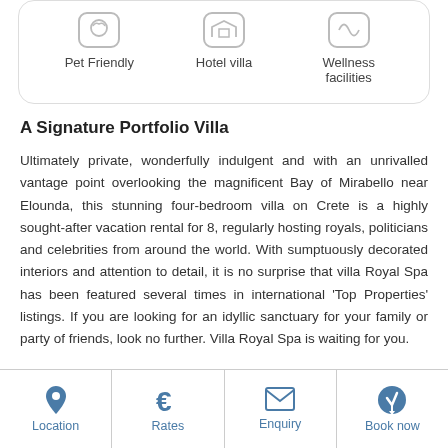[Figure (infographic): Three icons in a card: Pet Friendly, Hotel villa, Wellness facilities]
A Signature Portfolio Villa
Ultimately private, wonderfully indulgent and with an unrivalled vantage point overlooking the magnificent Bay of Mirabello near Elounda, this stunning four-bedroom villa on Crete is a highly sought-after vacation rental for 8, regularly hosting royals, politicians and celebrities from around the world. With sumptuously decorated interiors and attention to detail, it is no surprise that villa Royal Spa has been featured several times in international 'Top Properties' listings. If you are looking for an idyllic sanctuary for your family or party of friends, look no further. Villa Royal Spa is waiting for you.
[Figure (infographic): Bottom navigation bar with four items: Location, Rates, Enquiry, Book now]